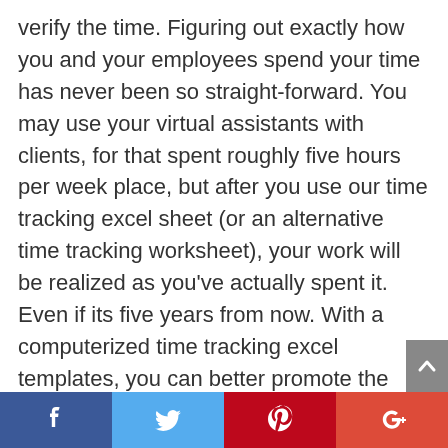verify the time. Figuring out exactly how you and your employees spend your time has never been so straight-forward. You may use your virtual assistants with clients, for that spent roughly five hours per week place, but after you use our time tracking excel sheet (or an alternative time tracking worksheet), your work will be realized as you've actually spent it. Even if its five years from now. With a computerized time tracking excel templates, you can better promote the security of your time tracking data. Download the amazing free time tracking template now for making your tracking on your employees working time easily without any hassles. This is a time convent and also this process is secure to ensure the payroll check to
Facebook | Twitter | Pinterest | Google+